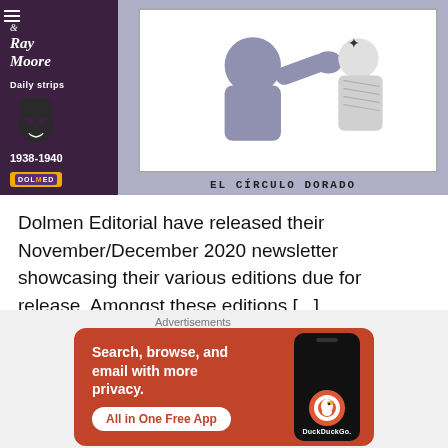[Figure (illustration): Comic book cover for The Phantom by Ray Moore, Daily Strips 1938-1940, El Circulo Dorado. Left panel shows dark purple background with author name, masked phantom face illustration, year range 1938-1940, and Dolmen editorial logo. Right panel shows a black and white fight scene comic strip panel with two figures fighting.]
Dolmen Editorial have released their November/December 2020 newsletter showcasing their various editions due for release. Amongst these editions [...]
Advertisements
[Figure (infographic): DuckDuckGo advertisement banner. Orange/red background with white text: 'Search, browse, and email with more privacy.' with 'All in One Free App' button. Right side shows a black smartphone with DuckDuckGo logo and name.]